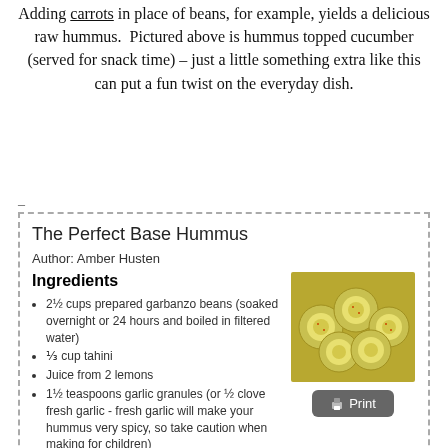Adding carrots in place of beans, for example, yields a delicious raw hummus.  Pictured above is hummus topped cucumber (served for snack time) – just a little something extra like this can put a fun twist on the everyday dish.
The Perfect Base Hummus
Author: Amber Husten
Ingredients
2½ cups prepared garbanzo beans (soaked overnight or 24 hours and boiled in filtered water)
⅓ cup tahini
Juice from 2 lemons
1½ teaspoons garlic granules (or ½ clove fresh garlic - fresh garlic will make your hummus very spicy, so take caution when making for children)
[Figure (photo): Photo of hummus topped cucumber slices arranged on a plate]